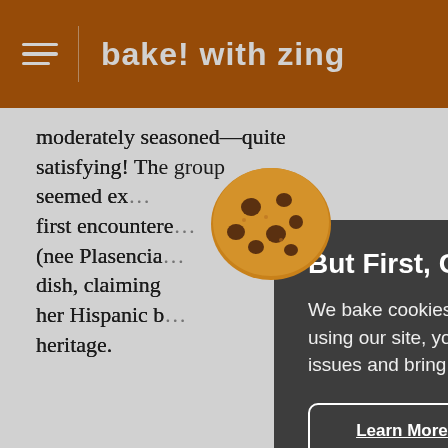bake! with zing
moderately seasoned—quite satisfying! The group seemed ex... first encounted... (nee Plasencia... dish, claiming her Hispanic b... heritage.
SÓLET AT FÜLEMÜLE
Our next sólet came at Fülem... restaurant kno... Jewish dishes... Hungarian standards, which opened in the early 1900s. It
[Figure (illustration): Cookie emoji illustration — brown cookie with chocolate chips]
But First, Cookies!
We bake cookies into our site to provide you with the best experience. By using our site, you consent to cookies and tracking. They help us find site issues and bring you the most relevant information.
Learn More | Accept & Continue